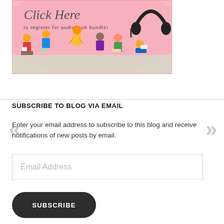[Figure (illustration): Banner image with pink background showing cartoon children reading/studying and a pair of headphones, with text 'Click Here to register for audiobook bundle!']
SUBSCRIBE TO BLOG VIA EMAIL
Enter your email address to subscribe to this blog and receive notifications of new posts by email.
Email Address
SUBSCRIBE